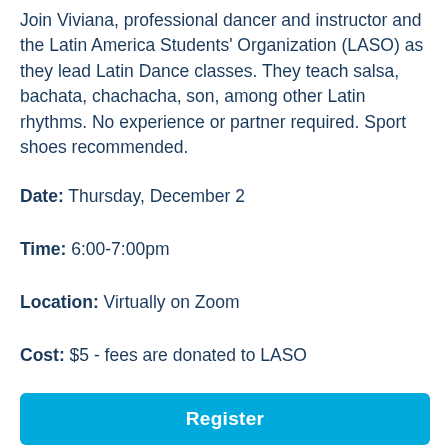Join Viviana, professional dancer and instructor and the Latin America Students' Organization (LASO) as they lead Latin Dance classes. They teach salsa, bachata, chachacha, son, among other Latin rhythms. No experience or partner required. Sport shoes recommended.
Date: Thursday, December 2
Time: 6:00-7:00pm
Location: Virtually on Zoom
Cost: $5 - fees are donated to LASO
Register
[Figure (logo): Gear/cog logo partially visible at bottom of page in dark blue and light blue colors]